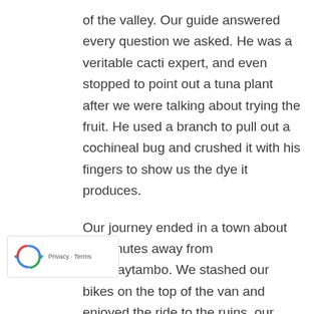of the valley. Our guide answered every question we asked. He was a veritable cacti expert, and even stopped to point out a tuna plant after we were talking about trying the fruit. He used a branch to pull out a cochineal bug and crushed it with his fingers to show us the dye it produces.
Our journey ended in a town about 20 minutes away from Ollantaytambo. We stashed our bikes on the top of the van and enjoyed the ride to the ruins, our calves throbbing and our spirits high.
MOUNTAIN BIKING IN THE SACRED VALLEY OPTIONS
This route is best for beginner cyclists or those with a multiple bik...